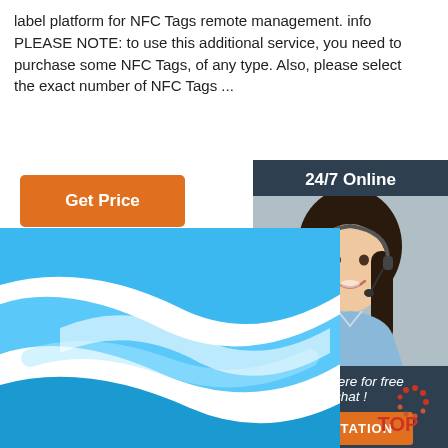label platform for NFC Tags remote management. info PLEASE NOTE: to use this additional service, you need to purchase some NFC Tags, of any type. Also, please select the exact number of NFC Tags ...
[Figure (other): Orange 'Get Price' button]
[Figure (other): Chat widget with agent photo, '24/7 Online' header, 'Click here for free chat!' text, and orange QUOTATION button]
[Figure (photo): Blue abstract flowing ribbon/liquid on white background]
[Figure (logo): TOP badge logo with orange dots arranged in a circle above red and dark text 'TOP']